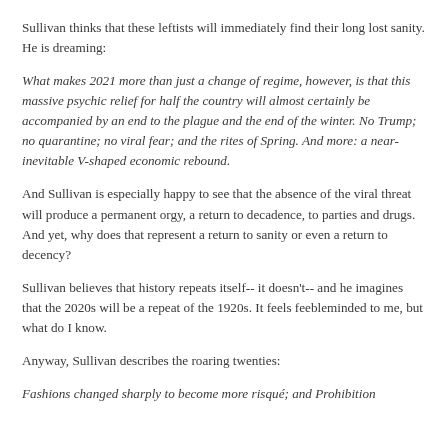Sullivan thinks that these leftists will immediately find their long lost sanity. He is dreaming:
What makes 2021 more than just a change of regime, however, is that this massive psychic relief for half the country will almost certainly be accompanied by an end to the plague and the end of the winter. No Trump; no quarantine; no viral fear; and the rites of Spring. And more: a near-inevitable V-shaped economic rebound.
And Sullivan is especially happy to see that the absence of the viral threat will produce a permanent orgy, a return to decadence, to parties and drugs. And yet, why does that represent a return to sanity or even a return to decency?
Sullivan believes that history repeats itself-- it doesn't-- and he imagines that the 2020s will be a repeat of the 1920s. It feels feebleminded to me, but what do I know.
Anyway, Sullivan describes the roaring twenties:
Fashions changed sharply to become more risqué; and Prohibition